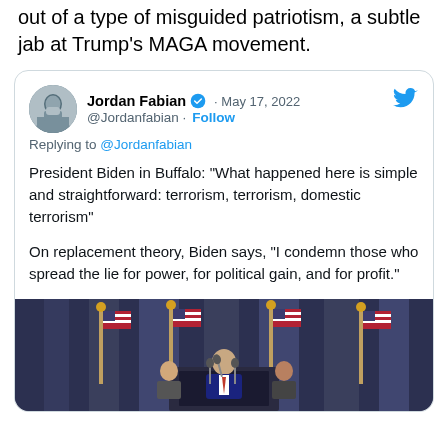out of a type of misguided patriotism, a subtle jab at Trump's MAGA movement.
[Figure (screenshot): Embedded tweet from Jordan Fabian (@Jordanfabian), May 17, 2022, verified account. Tweet text: 'President Biden in Buffalo: "What happened here is simple and straightforward: terrorism, terrorism, domestic terrorism"' and 'On replacement theory, Biden says, "I condemn those who spread the lie for power, for political gain, and for profit."' with an embedded photo of Biden speaking at a podium with American flags behind him.]